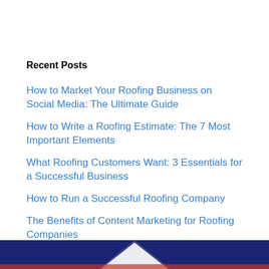Recent Posts
How to Market Your Roofing Business on Social Media: The Ultimate Guide
How to Write a Roofing Estimate: The 7 Most Important Elements
What Roofing Customers Want: 3 Essentials for a Successful Business
How to Run a Successful Roofing Company
The Benefits of Content Marketing for Roofing Companies